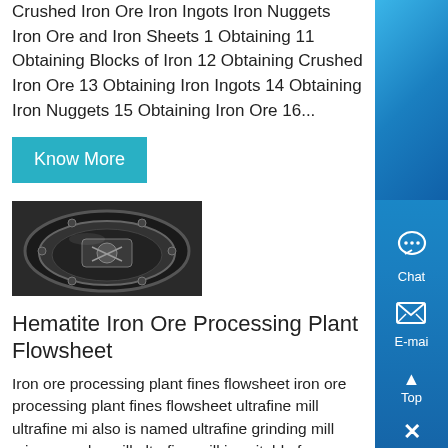Crushed Iron Ore Iron Ingots Iron Nuggets Iron Ore and Iron Sheets 1 Obtaining 11 Obtaining Blocks of Iron 12 Obtaining Crushed Iron Ore 13 Obtaining Iron Ingots 14 Obtaining Iron Nuggets 15 Obtaining Iron Ore 16...
Know More
[Figure (photo): Industrial bowl/drum equipment, likely a grinding or processing mill, viewed from above showing internal components]
Hematite Iron Ore Processing Plant Flowsheet
Iron ore processing plant fines flowsheet iron ore processing plant fines flowsheet ultrafine mill ultrafine mi also is named ultrafine grinding mill micro powder mill ultrafine mill is suitable for grinding calcium carbonate in fine powderoneficiation flow sheet of iron ore indian iron